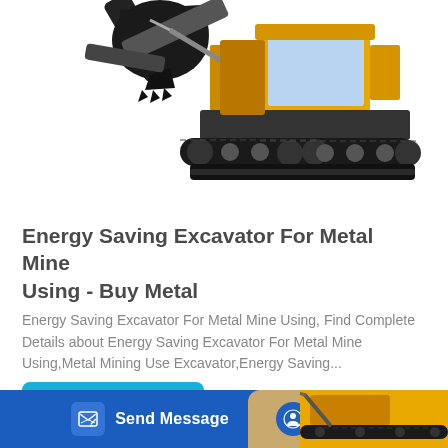[Figure (photo): Yellow mini excavator with black bucket and black undercarriage/tracks on white background, shown at an angle. Partial bucket/arm visible in upper left.]
Energy Saving Excavator For Metal Mine Using - Buy Metal
Energy Saving Excavator For Metal Mine Using, Find Complete Details about Energy Saving Excavator For Metal Mine Using,Metal Mining Use Excavator,Energy Saving...
Learn More
Send Message   Inquiry Online